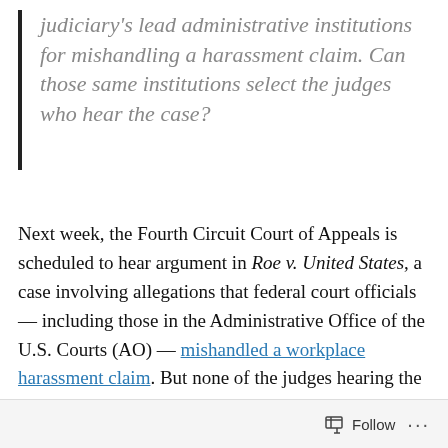judiciary's lead administrative institutions for mishandling a harassment claim. Can those same institutions select the judges who hear the case?
Next week, the Fourth Circuit Court of Appeals is scheduled to hear argument in Roe v. United States, a case involving allegations that federal court officials — including those in the Administrative Office of the U.S. Courts (AO) — mishandled a workplace harassment claim. But none of the judges hearing the Fourth Circuit appeal are actually from the Fourth Circuit, just as the judge who heard the original case in the Western District of North Carolina was not from that district. Nearly two years
Follow ···